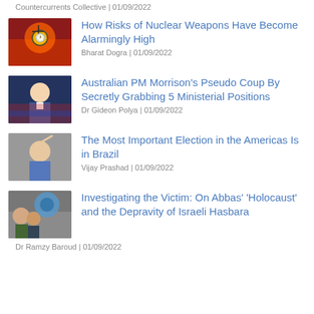Countercurrents Collective | 01/09/2022
[Figure (photo): Nuclear clock image with explosion background]
How Risks of Nuclear Weapons Have Become Alarmingly High
Bharat Dogra | 01/09/2022
[Figure (photo): Australian PM Scott Morrison speaking]
Australian PM Morrison's Pseudo Coup By Secretly Grabbing 5 Ministerial Positions
Dr Gideon Polya | 01/09/2022
[Figure (photo): Man raising fist, Brazilian election]
The Most Important Election in the Americas Is in Brazil
Vijay Prashad | 01/09/2022
[Figure (photo): People near water tap, Middle East context]
Investigating the Victim: On Abbas' 'Holocaust' and the Depravity of Israeli Hasbara
Dr Ramzy Baroud | 01/09/2022